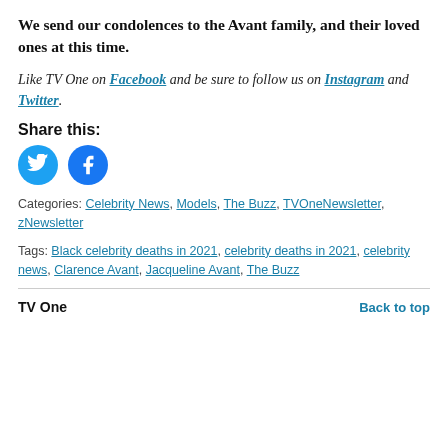We send our condolences to the Avant family, and their loved ones at this time.
Like TV One on Facebook and be sure to follow us on Instagram and Twitter.
Share this:
[Figure (other): Two circular social media share buttons: Twitter (blue bird icon) and Facebook (blue 'f' icon)]
Categories: Celebrity News, Models, The Buzz, TVOneNewsletter, zNewsletter
Tags: Black celebrity deaths in 2021, celebrity deaths in 2021, celebrity news, Clarence Avant, Jacqueline Avant, The Buzz
TV One    Back to top